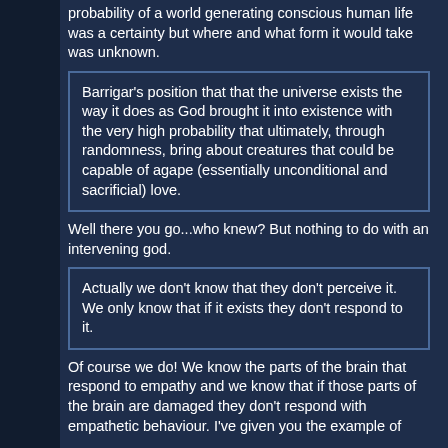probability of a world generating conscious human life was a certainty but where and what form it would take was unknown.
Barrigar's position that that the universe exists the way it does as God brought it into existence with the very high probability that ultimately, through randomness, bring about creatures that could be capable of agape (essentially unconditional and sacrificial) love.
Well there you go...who knew? But nothing to do with an intervening god.
Actually we don't know that they don't perceive it. We only know that if it exists they don't respond to it.
Of course we do! We know the parts of the brain that respond to empathy and we know that if those parts of the brain are damaged they don't respond with empathetic behaviour. I've given you the example of